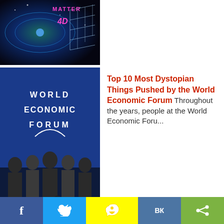[Figure (screenshot): Top image with dark cosmic/galaxy background with text 'MATTER' and '4D' in pink/magenta]
[Figure (photo): World Economic Forum logo on blue background with panel of speakers in foreground]
Top 10 Most Dystopian Things Pushed by the World Economic Forum Throughout the years, people at the World Economic Foru...
[Figure (photo): Close-up of elderly bald man's face]
Utah Ritualized Sexual Abuse Investigation: The Mormon Church And Child Sexual Abuse By
[Figure (screenshot): Bottom left ad showing person with text 'Do Yo']
[Figure (illustration): Bottom right ad showing illustrated woman sleeping]
f  [twitter bird]  [snapchat ghost]  VK  [share icon]